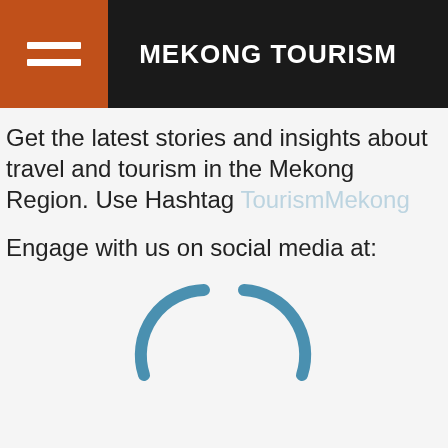MEKONG TOURISM
Get the latest stories and insights about travel and tourism in the Mekong Region. Use Hashtag TourismMekong
Engage with us on social media at:
[Figure (other): Loading spinner animation — two partial circle arcs in teal/steel blue forming a spinning indicator]